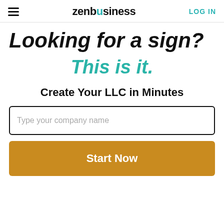zenbusiness  LOG IN
Looking for a sign?
This is it.
Create Your LLC in Minutes
Type your company name
Start Now